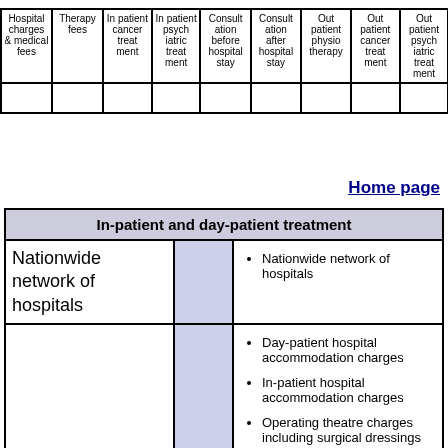| Hospital charges & medical fees | Therapy fees | In patient cancer treat ment | In patient psych iatric treat ment | Consult ation before hospital stay | Consult ation after hospital stay | Out patient physio therapy | Out patient cancer treat ment | Out patient psych iatric treat ment | Minor surgery by a GP | Parent accomm odation | Private ambul ance |
| --- | --- | --- | --- | --- | --- | --- | --- | --- | --- | --- | --- |
|  |  |  |  |  |  |  |  |  |  |  |  |
Home page
| In-patient and day-patient treatment |
| --- |
| Nationwide network of hospitals |  | Nationwide network of hospitals |
|  |  | Day-patient hospital accommodation charges
In-patient hospital accommodation charges
Operating theatre charges including surgical dressings and drugs
Surgical appliances needed as a vital part of an operation |